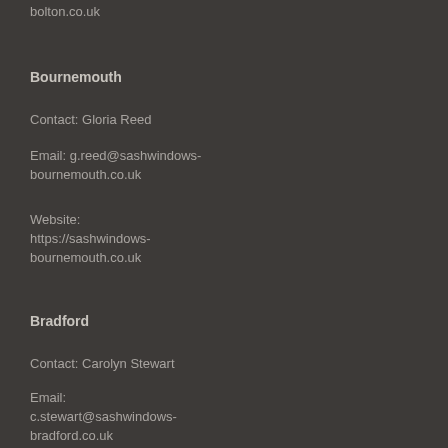bolton.co.uk
Bracknell
Bournemouth
Contact: Roger Ross
Contact: Gloria Reed
Email: r.ross@sashwindows-bracknell.co.uk
Email: g.reed@sashwindows-bournemouth.co.uk
Website: https://sashwindows-bracknell.co.uk
Website: https://sashwindows-bournemouth.co.uk
Brent
Bradford
Contact: Timothy Peterson
Contact: Carolyn Stewart
Email: t.peterson@sashwindows-brent.co.uk
Email: c.stewart@sashwindows-bradford.co.uk
Website: https://sashwindows-